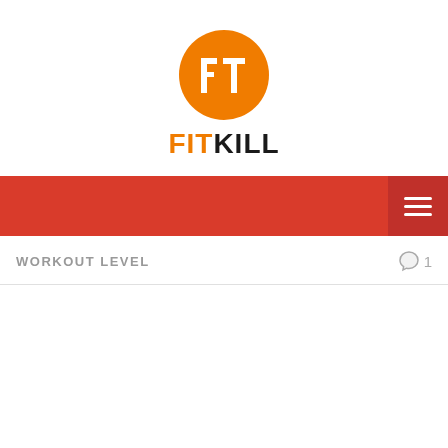[Figure (logo): FitKill logo: orange circle with white 'fT' lettermark icon, followed by the text FITKILL in orange and black bold sans-serif]
[Figure (infographic): Red navigation bar with a darker red hamburger menu icon button on the right side]
WORKOUT LEVEL
1